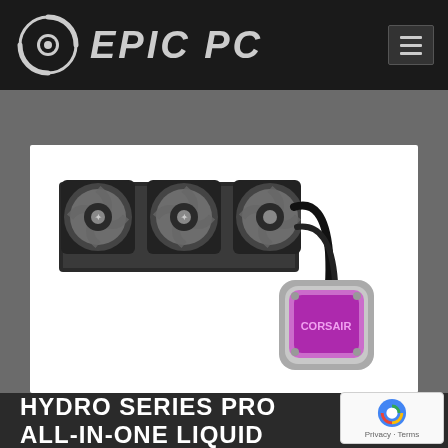EPIC PC
[Figure (photo): Corsair Hydro Series Pro All-In-One liquid cooler with three 120mm fans on a radiator and a CPU water block with RGB purple lighting, shown on a white background]
HYDRO SERIES PRO ALL-IN-ONE LIQUID